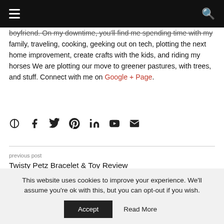☰  🔍
boyfriend. On my downtime, you'll find me spending time with my family, traveling, cooking, geeking out on tech, plotting the next home improvement, create crafts with the kids, and riding my horses We are plotting our move to greener pastures, with trees, and stuff. Connect with me on Google + Page.
[Figure (infographic): Row of social media icons: globe, Facebook, Twitter, Pinterest, LinkedIn, YouTube, email]
previous post
Twisty Petz Bracelet & Toy Review
next post
The Insiders Guide to Budgeting for a Baby
This website uses cookies to improve your experience. We'll assume you're ok with this, but you can opt-out if you wish.
Accept  Read More